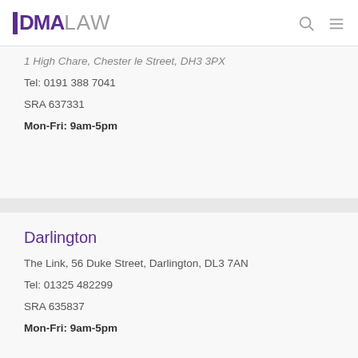DMA LAW
1 High Chare, Chester le Street, DH3 3PX (partial/truncated)
Tel: 0191 388 7041
SRA 637331
Mon-Fri: 9am-5pm
Darlington
The Link, 56 Duke Street, Darlington, DL3 7AN
Tel: 01325 482299
SRA 635837
Mon-Fri: 9am-5pm